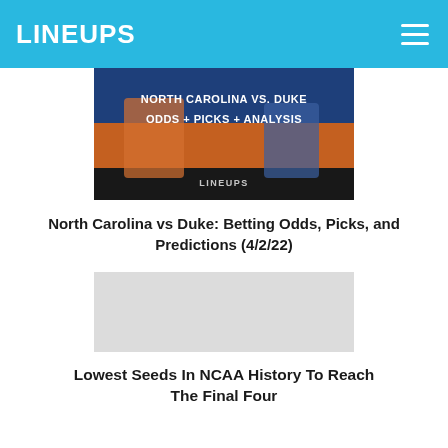LINEUPS
[Figure (photo): North Carolina vs Duke betting odds article thumbnail showing basketball players with text overlay: NORTH CAROLINA VS. DUKE ODDS + PICKS + ANALYSIS and LINEUPS branding]
North Carolina vs Duke: Betting Odds, Picks, and Predictions (4/2/22)
[Figure (photo): Lowest Seeds In NCAA History To Reach The Final Four article thumbnail image placeholder]
Lowest Seeds In NCAA History To Reach The Final Four